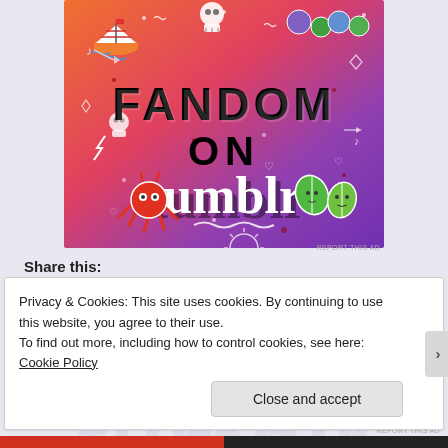[Figure (illustration): Colorful advertisement banner for 'Fandom on Tumblr' with orange-to-purple gradient background, doodle illustrations including a sailboat, skull, octopus, green leaves, dice, and various decorative elements. Bold text reads 'FANDOM ON tumblr'.]
REPORT THIS AD
Share this:
Privacy & Cookies: This site uses cookies. By continuing to use this website, you agree to their use.
To find out more, including how to control cookies, see here: Cookie Policy
Close and accept